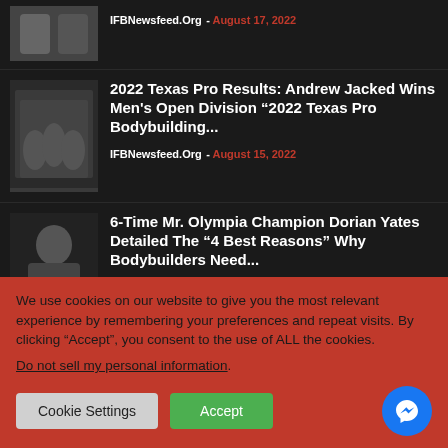[Figure (photo): Thumbnail image of bodybuilders at top news item]
IFBNewsfeed.Org - August 17, 2022
[Figure (photo): Thumbnail image of bodybuilders on stage for Texas Pro]
2022 Texas Pro Results: Andrew Jacked Wins Men's Open Division “2022 Texas Pro Bodybuilding...
IFBNewsfeed.Org - August 15, 2022
[Figure (photo): Black and white photo of Dorian Yates bodybuilder]
6-Time Mr. Olympia Champion Dorian Yates Detailed The “4 Best Reasons” Why Bodybuilders Need...
IFBNewsfeed.Org - August 13, 2022
We use cookies on our website to give you the most relevant experience by remembering your preferences and repeat visits. By clicking “Accept”, you consent to the use of ALL the cookies.
Do not sell my personal information.